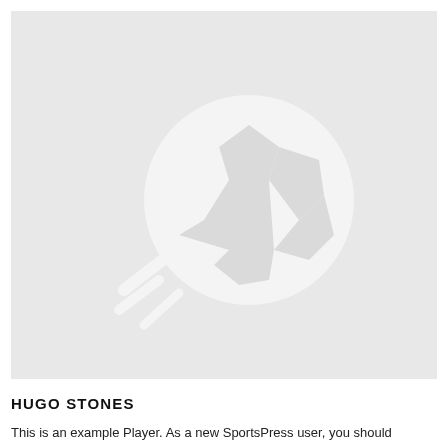[Figure (illustration): Placeholder image with light gray background and a white soccer ball icon with motion lines, used as a default player photo placeholder]
HUGO STONES
This is an example Player. As a new SportsPress user, you should